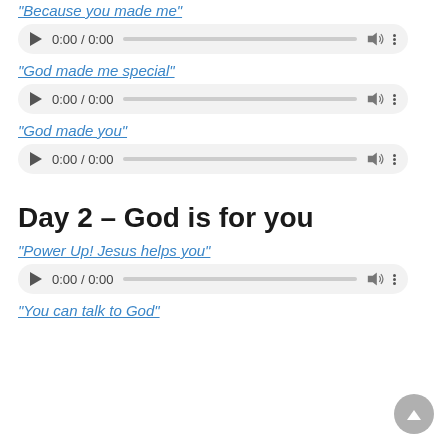“Because you made me”
[Figure (other): Audio player showing 0:00 / 0:00 with play button, progress bar, volume icon, and menu dots]
“God made me special”
[Figure (other): Audio player showing 0:00 / 0:00 with play button, progress bar, volume icon, and menu dots]
“God made you”
[Figure (other): Audio player showing 0:00 / 0:00 with play button, progress bar, volume icon, and menu dots]
Day 2 – God is for you
“Power Up! Jesus helps you”
[Figure (other): Audio player showing 0:00 / 0:00 with play button, progress bar, volume icon, and menu dots]
“You can talk to God”